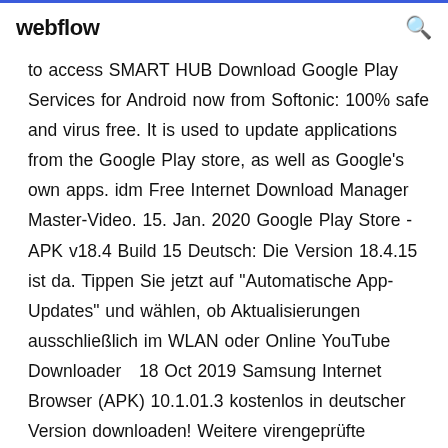webflow
to access SMART HUB Download Google Play Services for Android now from Softonic: 100% safe and virus free. It is used to update applications from the Google Play store, as well as Google's own apps. idm Free Internet Download Manager Master-Video. 15. Jan. 2020 Google Play Store - APK v18.4 Build 15 Deutsch: Die Version 18.4.15 ist da. Tippen Sie jetzt auf "Automatische App-Updates" und wählen, ob Aktualisierungen ausschließlich im WLAN oder Online YouTube Downloader  18 Oct 2019 Samsung Internet Browser (APK) 10.1.01.3 kostenlos in deutscher Version downloaden! Weitere virengeprüfte Software aus der Kategorie...